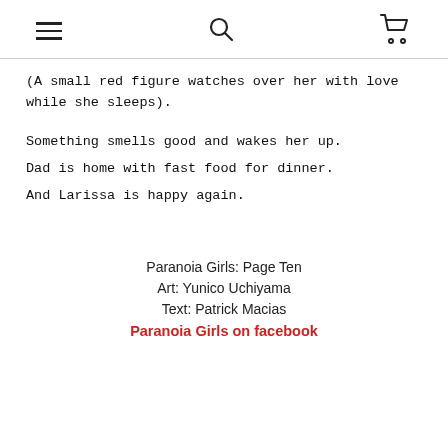[hamburger menu icon] [search icon] [cart icon]
(A small red figure watches over her with love while she sleeps).
Something smells good and wakes her up. Dad is home with fast food for dinner. And Larissa is happy again.
Paranoia Girls: Page Ten
Art: Yunico Uchiyama
Text: Patrick Macias
Paranoia Girls on facebook